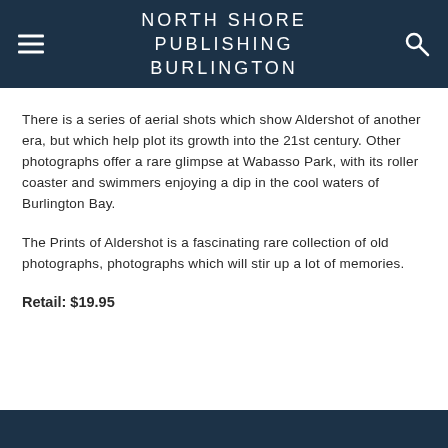NORTH SHORE PUBLISHING BURLINGTON
There is a series of aerial shots which show Aldershot of another era, but which help plot its growth into the 21st century. Other photographs offer a rare glimpse at Wabasso Park, with its roller coaster and swimmers enjoying a dip in the cool waters of Burlington Bay.
The Prints of Aldershot is a fascinating rare collection of old photographs, photographs which will stir up a lot of memories.
Retail: $19.95